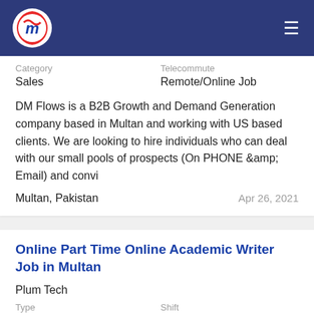Navigation bar with logo and hamburger menu
Category
Sales
Telecommute
Remote/Online Job
DM Flows is a B2B Growth and Demand Generation company based in Multan and working with US based clients. We are looking to hire individuals who can deal with our small pools of prospects (On PHONE &amp; Email) and convi
Multan, Pakistan
Apr 26, 2021
Online Part Time Online Academic Writer Job in Multan
Plum Tech
Type
Part Time
Shift
Evening